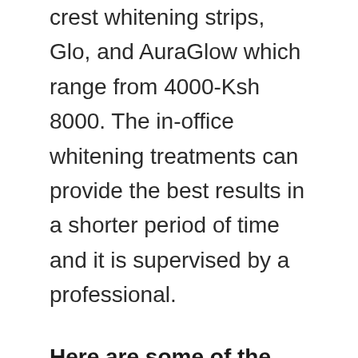crest whitening strips, Glo, and AuraGlow which range from 4000-Ksh 8000. The in-office whitening treatments can provide the best results in a shorter period of time and it is supervised by a professional.
Here are some of the places in Nairobi where you can whiten your teeth.
1. Tender Care Dental Nairobi